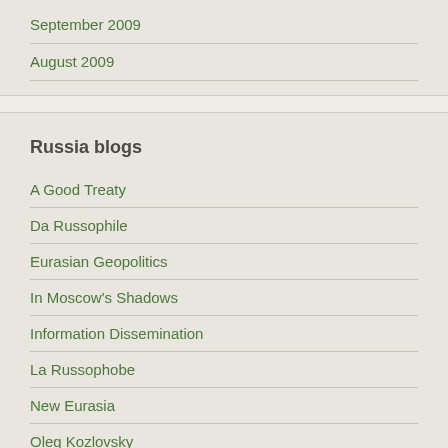September 2009
August 2009
Russia blogs
A Good Treaty
Da Russophile
Eurasian Geopolitics
In Moscow's Shadows
Information Dissemination
La Russophobe
New Eurasia
Oleg Kozlovsky
Open Democracy
Pavel Baev's Blog